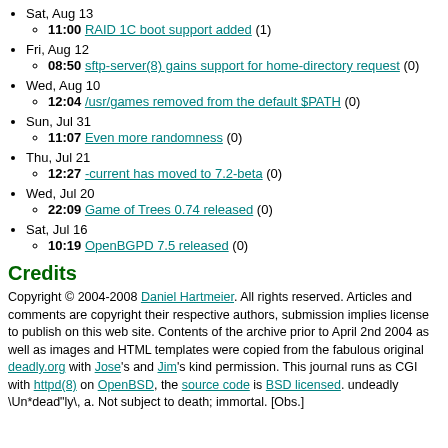Sat, Aug 13
11:00 RAID 1C boot support added (1)
Fri, Aug 12
08:50 sftp-server(8) gains support for home-directory request (0)
Wed, Aug 10
12:04 /usr/games removed from the default $PATH (0)
Sun, Jul 31
11:07 Even more randomness (0)
Thu, Jul 21
12:27 -current has moved to 7.2-beta (0)
Wed, Jul 20
22:09 Game of Trees 0.74 released (0)
Sat, Jul 16
10:19 OpenBGPD 7.5 released (0)
Credits
Copyright © 2004-2008 Daniel Hartmeier. All rights reserved. Articles and comments are copyright their respective authors, submission implies license to publish on this web site. Contents of the archive prior to April 2nd 2004 as well as images and HTML templates were copied from the fabulous original deadly.org with Jose's and Jim's kind permission. This journal runs as CGI with httpd(8) on OpenBSD, the source code is BSD licensed. undeadly \Un*dead"ly\, a. Not subject to death; immortal. [Obs.]